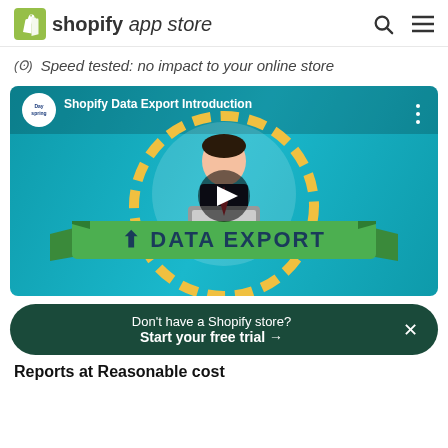shopify app store
Speed tested: no impact to your online store
[Figure (screenshot): YouTube video thumbnail for 'Shopify Data Export Introduction' by Dayspring channel. Shows an animated character at a laptop inside a gold/yellow circle on a teal background with a green ribbon banner reading '↑ DATA EXPORT' and a play button in the center.]
Don't have a Shopify store? Start your free trial →
Reports at Reasonable cost